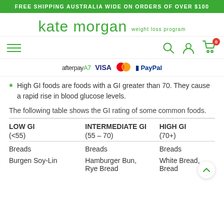FREE SHIPPING AUSTRALIA WIDE ON ORDERS OF OVER $100
[Figure (logo): Kate Morgan weight loss program logo in green]
[Figure (infographic): Navigation bar with hamburger menu, search, user, and cart icons. Payment logos: afterpayA7, VISA, Mastercard, PayPal]
High GI foods are foods with a GI greater than 70. They cause a rapid rise in blood glucose levels.
The following table shows the GI rating of some common foods.
| LOW GI (<55) | INTERMEDIATE GI (55 – 70) | HIGH GI (70+) |
| --- | --- | --- |
| Breads | Breads | Breads |
| Burgen Soy-Lin | Hamburger Bun, Rye Bread | White Bread, Bread |